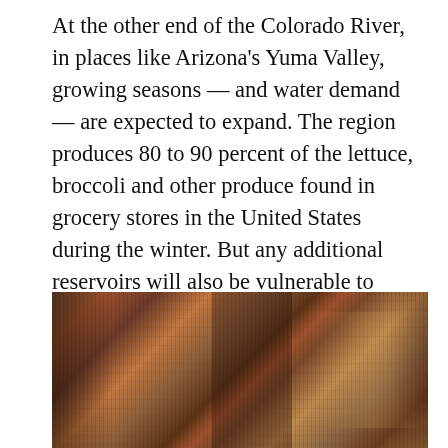At the other end of the Colorado River, in places like Arizona's Yuma Valley, growing seasons — and water demand — are expected to expand. The region produces 80 to 90 percent of the lettuce, broccoli and other produce found in grocery stores in the United States during the winter. But any additional reservoirs will also be vulnerable to increased evaporation due to rising temperatures.
[Figure (photo): A wide horizontal photograph showing a reddish-brown rocky landscape, likely canyon walls or eroded rock formations along the Colorado River region. The image has warm brown and rust tones with dark streaks and crevices visible in the rock surface.]